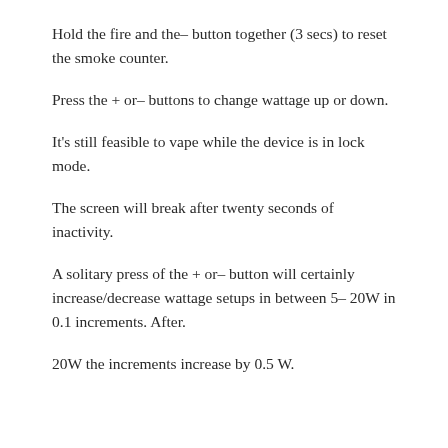Hold the fire and the– button together (3 secs) to reset the smoke counter.
Press the + or– buttons to change wattage up or down.
It's still feasible to vape while the device is in lock mode.
The screen will break after twenty seconds of inactivity.
A solitary press of the + or– button will certainly increase/decrease wattage setups in between 5– 20W in 0.1 increments. After.
20W the increments increase by 0.5 W.